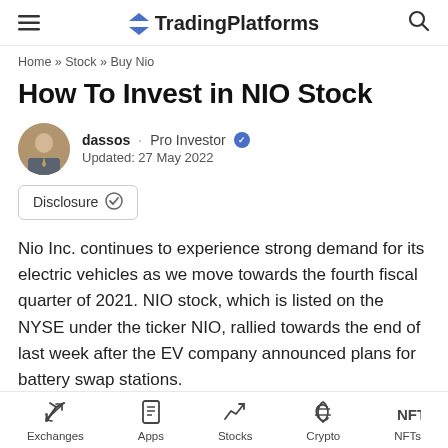TradingPlatforms
Home » Stock » Buy Nio
How To Invest in NIO Stock
dassos · Pro Investor ✓
Updated: 27 May 2022
Disclosure
Nio Inc. continues to experience strong demand for its electric vehicles as we move towards the fourth fiscal quarter of 2021. NIO stock, which is listed on the NYSE under the ticker NIO, rallied towards the end of last week after the EV company announced plans for battery swap stations.
Exchanges  Apps  Stocks  Crypto  NFTs